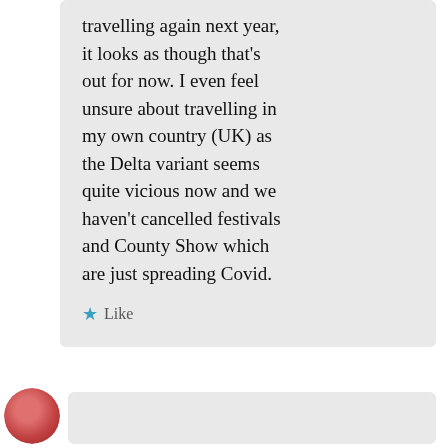travelling again next year, it looks as though that's out for now. I even feel unsure about travelling in my own country (UK) as the Delta variant seems quite vicious now and we haven't cancelled festivals and County Show which are just spreading Covid.
★ Like
AUGUST 29, 2021 AT 9:48 PM
↳ REPLY
[Figure (photo): Partial avatar/profile photo at bottom left, circular crop, reddish-orange tones]